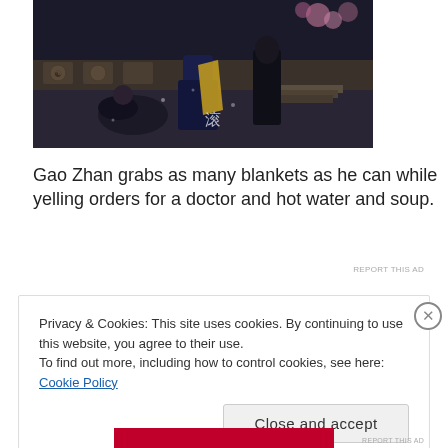[Figure (screenshot): Screenshot from a Chinese historical drama showing two figures in black robes in a courtyard or garden setting, with a Chinese character watermark on the image.]
Gao Zhan grabs as many blankets as he can while yelling orders for a doctor and hot water and soup.
REPORT THIS AD
Privacy & Cookies: This site uses cookies. By continuing to use this website, you agree to their use.
To find out more, including how to control cookies, see here: Cookie Policy
Close and accept
REPORT THIS AD